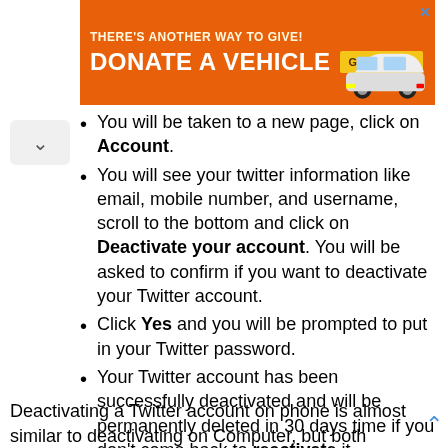[Figure (screenshot): Orange advertisement banner: THERE'S ANOTHER WAY TO GIVE! DONATE A VEHICLE with GIVE TODAY button and car image, with X close button]
You will be taken to a new page, click on Account.
You will see your twitter information like email, mobile number, and username, scroll to the bottom and click on Deactivate your account. You will be asked to confirm if you want to deactivate your Twitter account.
Click Yes and you will be prompted to put in your Twitter password.
Your Twitter account has been successfully deactivated and will be permanently deleted in 30 days time if you don't come back to reactivate it.
Deactivating a Twitter account on phone is almost similar to deactivating on Computer, but both